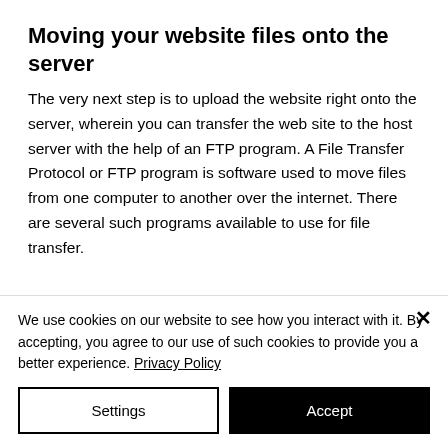Moving your website files onto the server
The very next step is to upload the website right onto the server, wherein you can transfer the web site to the host server with the help of an FTP program. A File Transfer Protocol or FTP program is software used to move files from one computer to another over the internet. There are several such programs available to use for file transfer.
We use cookies on our website to see how you interact with it. By accepting, you agree to our use of such cookies to provide you a better experience. Privacy Policy